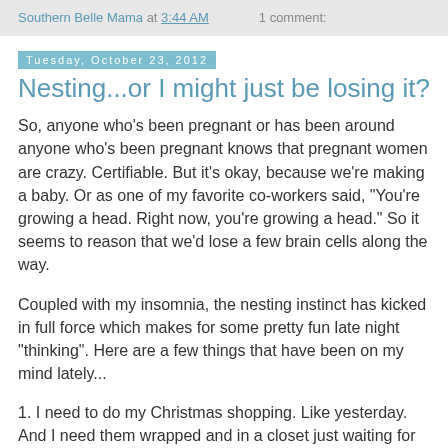Southern Belle Mama at 3:44 AM   1 comment:
Tuesday, October 23, 2012
Nesting...or I might just be losing it?
So, anyone who's been pregnant or has been around anyone who's been pregnant knows that pregnant women are crazy. Certifiable. But it's okay, because we're making a baby. Or as one of my favorite co-workers said, "You're growing a head. Right now, you're growing a head." So it seems to reason that we'd lose a few brain cells along the way.
Coupled with my insomnia, the nesting instinct has kicked in full force which makes for some pretty fun late night "thinking". Here are a few things that have been on my mind lately...
1. I need to do my Christmas shopping. Like yesterday. And I need them wrapped and in a closet just waiting for December to arrive.